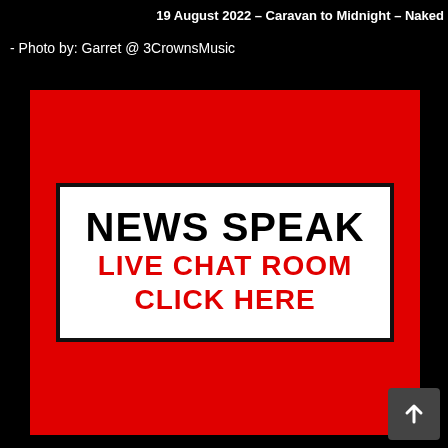19 August 2022 – Caravan to Midnight – Naked
- Photo by: Garret @ 3CrownsMusic
[Figure (illustration): Red background image with a white bordered box containing text: NEWS SPEAK in large bold black letters, LIVE CHAT ROOM in large bold red letters, CLICK HERE in large bold red letters.]